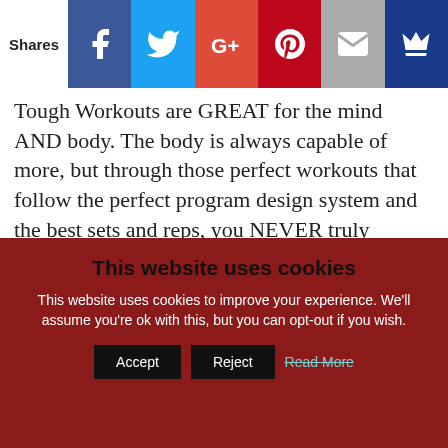Shares | [Facebook] [Twitter] [Google+] [Pinterest] [Email] [Crown]
Tough Workouts are GREAT for the mind AND body. The body is always capable of more, but through those perfect workouts that follow the perfect program design system and the best sets and reps, you NEVER truly develop your Inner Savage. I love telling the … [Read more...]
FILED UNDER: ARTICLES, AWESOME BUSINESS, AWESOME LIFE, LIVE THE CODE, MENTAL TOUGHNESS, MOTIVATION,
This website uses cookies
This website uses cookies to improve your experience. We'll assume you're ok with this, but you can opt-out if you wish.
Accept | Reject | Read More